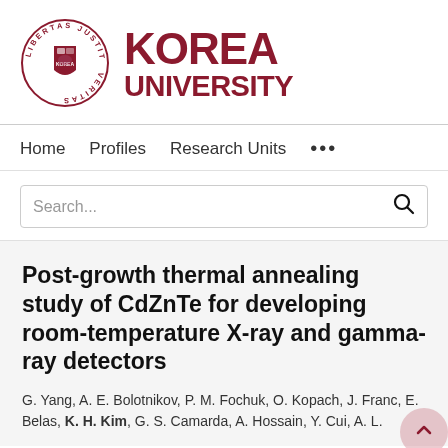[Figure (logo): Korea University logo with emblem circle and text KOREA UNIVERSITY in dark red]
Home   Profiles   Research Units   ...
Search...
Post-growth thermal annealing study of CdZnTe for developing room-temperature X-ray and gamma-ray detectors
G. Yang, A. E. Bolotnikov, P. M. Fochuk, O. Kopach, J. Franc, E. Belas, K. H. Kim, G. S. Camarda, A. Hossain, Y. Cui, A. L.